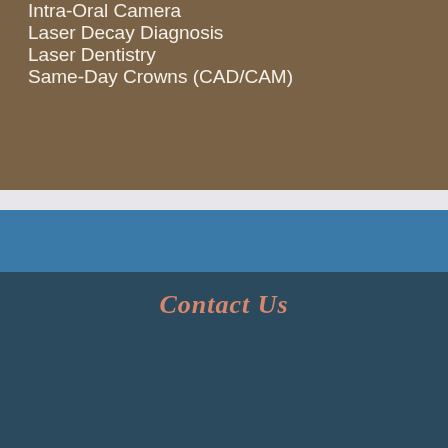Intra-Oral Camera
Laser Decay Diagnosis
Laser Dentistry
Same-Day Crowns (CAD/CAM)
Contact Us